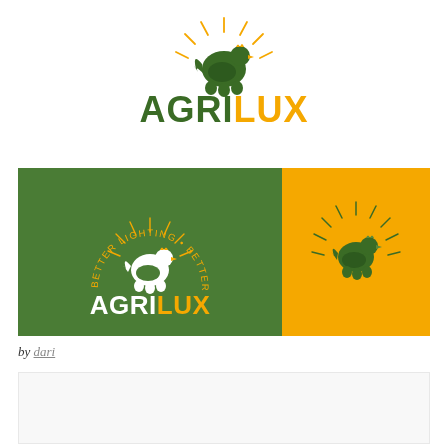[Figure (logo): AGRILUX logo on white background: green hen silhouette with yellow sunburst rays above three eggs, large text AGRI in dark green and LUX in yellow/gold]
[Figure (logo): AGRILUX brand presentation banner: left panel green background with white hen logo, circular tagline 'BETTER LIGHTING - BETTER POULTRY' and white AGRI + yellow LUX text; right panel yellow/gold background with dark green hen sunburst icon only]
by dari